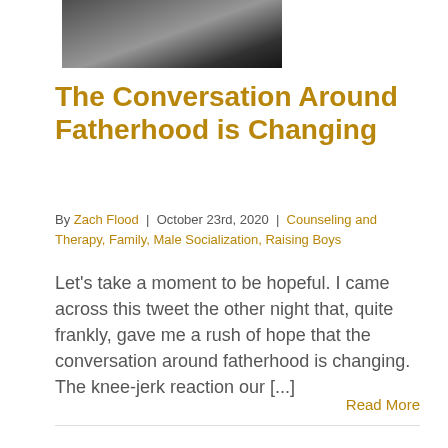[Figure (photo): Black and white photo strip showing partial image of people, cropped at top of page]
The Conversation Around Fatherhood is Changing
By Zach Flood | October 23rd, 2020 | Counseling and Therapy, Family, Male Socialization, Raising Boys
Let's take a moment to be hopeful. I came across this tweet the other night that, quite frankly, gave me a rush of hope that the conversation around fatherhood is changing. The knee-jerk reaction our [...]
Read More